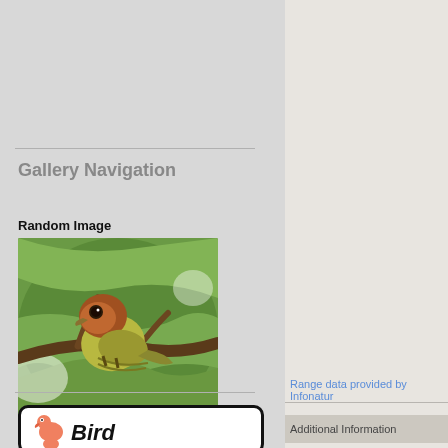Gallery Navigation
Random Image
[Figure (photo): Photo of a Fulvous-headed Brushfinch bird perched on a branch, surrounded by green leaves. The bird has a rufous/brown head and yellowish-green body.]
Fulvous-headed Brushfinch
[Figure (logo): Bird logo: cartoon flamingo with 'Bird' text in bold handwritten font, inside a rounded rectangle border]
Range data provided by Infonatur
Additional Information